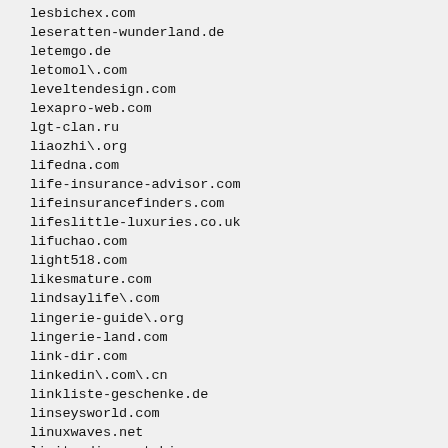lesbichex.com
leseratten-wunderland.de
letemgo.de
letomol\.com
leveltendesign.com
lexapro-web.com
lgt-clan.ru
liaozhi\.org
lifedna.com
life-insurance-advisor.com
lifeinsurancefinders.com
lifeslittle-luxuries.co.uk
lifuchao.com
light518.com
likesmature.com
lindsaylife\.com
lingerie-guide\.org
lingerie-land.com
link-dir.com
linkedin\.com\.cn
linkliste-geschenke.de
linseysworld.com
linuxwaves.net
lipitordiscount.biz
lipitordiscount.com